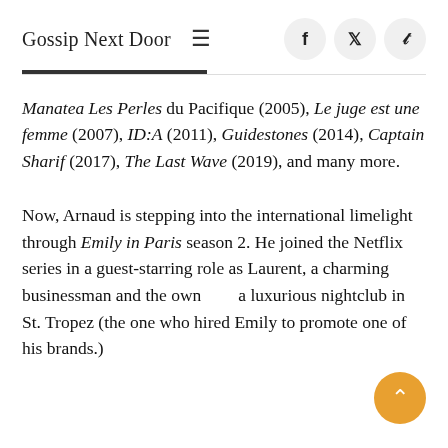Gossip Next Door
Manatea Les Perles du Pacifique (2005), Le juge est une femme (2007), ID:A (2011), Guidestones (2014), Captain Sharif (2017), The Last Wave (2019), and many more.
Now, Arnaud is stepping into the international limelight through Emily in Paris season 2. He joined the Netflix series in a guest-starring role as Laurent, a charming businessman and the owner of a luxurious nightclub in St. Tropez (the one who hired Emily to promote one of his brands.)